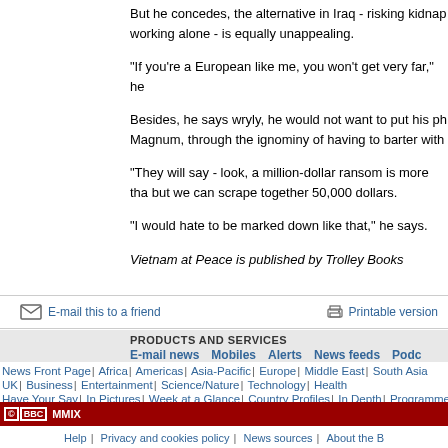But he concedes, the alternative in Iraq - risking kidnap working alone - is equally unappealing.
"If you're a European like me, you won't get very far," he
Besides, he says wryly, he would not want to put his ph Magnum, through the ignominy of having to barter with
"They will say - look, a million-dollar ransom is more tha but we can scrape together 50,000 dollars.
"I would hate to be marked down like that," he says.
Vietnam at Peace is published by Trolley Books
E-mail this to a friend   Printable version
PRODUCTS AND SERVICES
E-mail news  Mobiles  Alerts  News feeds  Podc
News Front Page | Africa | Americas | Asia-Pacific | Europe | Middle East | South Asia UK | Business | Entertainment | Science/Nature | Technology | Health Have Your Say | In Pictures | Week at a Glance | Country Profiles | In Depth | Programmes
© BBC MMIX
Help | Privacy and cookies policy | News sources | About the B